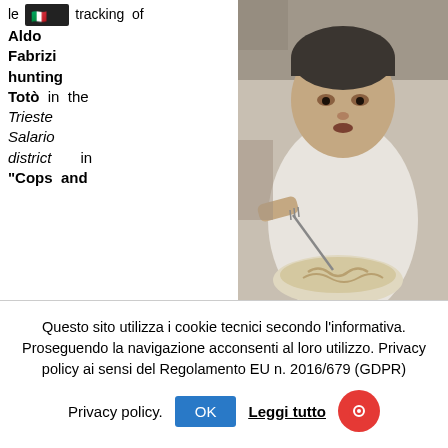le... tracking of Aldo Fabrizi hunting Totò in the Trieste Salario district in "Cops and Robbers" of Mario Monicelli and Steno of 1951 and the historic scene of Alberto Sordi in "An American in Rome" eating pasta. It was filmed between the Portico d'Ottavia and Teatro Marcello nand the Ghetto of Rome. And finally, Nanni Moretti in "Caro Diario" (1993) and his wandering on a Vespa in the areas of Garbatella, del Villaggio Olimpico, Tufello, Vigna Nuova, Monteverde.
[Figure (photo): Black and white photograph of a young man eating pasta, leaning forward with fork in hand, looking sideways.]
Questo sito utilizza i cookie tecnici secondo l’informativa. Proseguendo la navigazione acconsenti al loro utilizzo. Privacy policy ai sensi del Regolamento EU n. 2016/679 (GDPR)
Privacy policy. OK Leggi tutto